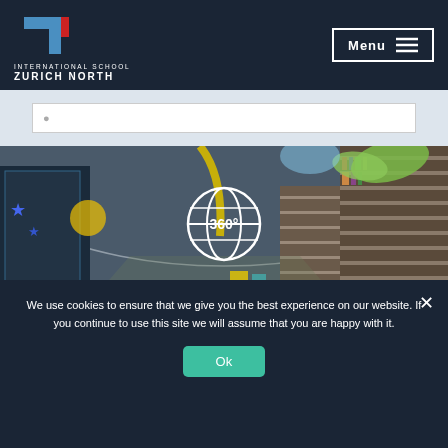[Figure (logo): International School Zurich North logo with red and blue geometric arrow shape]
Menu ≡
[Figure (photo): 360-degree panoramic interior view of a school library with bookshelves, colorful ceiling decorations including green leaf shapes and yellow beams, blue star decorations on left, and a 360 globe icon overlay in the center]
We use cookies to ensure that we give you the best experience on our website. If you continue to use this site we will assume that you are happy with it.